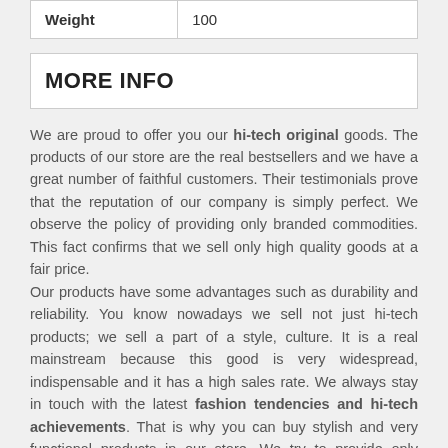| Weight | 100 |
MORE INFO
We are proud to offer you our hi-tech original goods. The products of our store are the real bestsellers and we have a great number of faithful customers. Their testimonials prove that the reputation of our company is simply perfect. We observe the policy of providing only branded commodities. This fact confirms that we sell only high quality goods at a fair price. Our products have some advantages such as durability and reliability. You know nowadays we sell not just hi-tech products; we sell a part of a style, culture. It is a real mainstream because this good is very widespread, indispensable and it has a high sales rate. We always stay in touch with the latest fashion tendencies and hi-tech achievements. That is why you can buy stylish and very functional products in our store. We try to provide only positive and effective solutions.
The main reason of our success is that our commodities are the unique combination of original design and numerous useful qualities. Moreover, the functions that include these products are very...